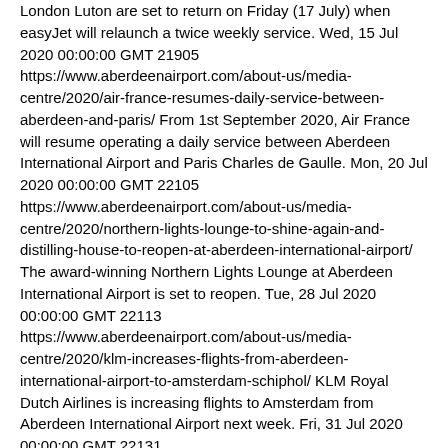London Luton are set to return on Friday (17 July) when easyJet will relaunch a twice weekly service. Wed, 15 Jul 2020 00:00:00 GMT 21905 https://www.aberdeenairport.com/about-us/media-centre/2020/air-france-resumes-daily-service-between-aberdeen-and-paris/ From 1st September 2020, Air France will resume operating a daily service between Aberdeen International Airport and Paris Charles de Gaulle. Mon, 20 Jul 2020 00:00:00 GMT 22105 https://www.aberdeenairport.com/about-us/media-centre/2020/northern-lights-lounge-to-shine-again-and-distilling-house-to-reopen-at-aberdeen-international-airport/ The award-winning Northern Lights Lounge at Aberdeen International Airport is set to reopen. Tue, 28 Jul 2020 00:00:00 GMT 22113 https://www.aberdeenairport.com/about-us/media-centre/2020/klm-increases-flights-from-aberdeen-international-airport-to-amsterdam-schiphol/ KLM Royal Dutch Airlines is increasing flights to Amsterdam from Aberdeen International Airport next week. Fri, 31 Jul 2020 00:00:00 GMT 22131 https://www.aberdeenairport.com/about-us/media-centre/2020/aberdeen-international-airport-will-remain-open-and-continue-offering-passenger-services-from-our-airport/ Aberdeen International Airport will remain open and continue offering passenger services from our airport. Wed, 05 Aug 2020 00:00:00 GMT 22214 https://www.aberdeenairport.com/about-us/media-centre/2020/increased-frequencies-and-route-restarted-at-aberdeen-international-airport/ A number of international routes have increased flights Aberdeen International Airport from our airport.